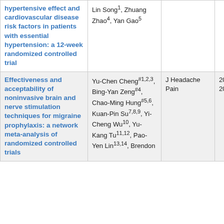| Title | Authors | Journal | Date |
| --- | --- | --- | --- |
| hypertensive effect and cardiovascular disease risk factors in patients with essential hypertension: a 12-week randomized controlled trial | Lin Song¹, Zhuang Zhao⁴, Yan Gao⁵ |  |  |
| Effectiveness and acceptability of noninvasive brain and nerve stimulation techniques for migraine prophylaxis: a network meta-analysis of randomized controlled trials | Yu-Chen Cheng#1,2,3, Bing-Yan Zeng#4, Chao-Ming Hung#5,6, Kuan-Pin Su7,8,9, Yi-Cheng Wu10, Yu-Kang Tu11,12, Pao-Yen Lin13,14, Brendon... | J Headache Pain | 2022 Feb 20 |